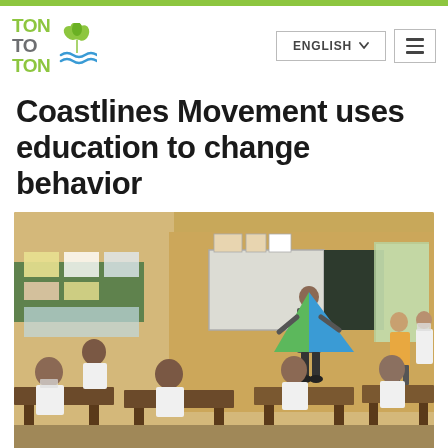TON TO TON — navigation bar with language selector (ENGLISH) and hamburger menu
Coastlines Movement uses education to change behavior
[Figure (photo): Classroom scene in a developing-country school: a teacher or presenter stands at the front holding a large blue-and-green triangular banner/flag in front of a whiteboard and chalkboard. Students in white uniforms sit at wooden desks facing the front. Posters hang on yellow walls. Another adult in a mask stands to the right side of the room. Natural light comes from a window on the right.]